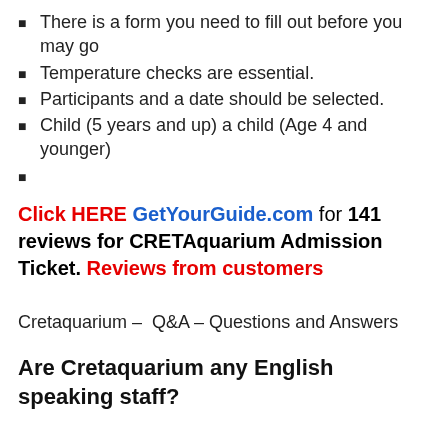There is a form you need to fill out before you may go
Temperature checks are essential.
Participants and a date should be selected.
Child (5 years and up) a child (Age 4 and younger)
Click HERE GetYourGuide.com for 141 reviews for CRETAquarium Admission Ticket. Reviews from customers
Cretaquarium – Q&A – Questions and Answers
Are Cretaquarium any English speaking staff?